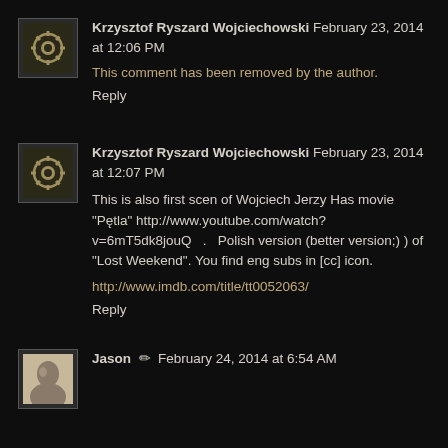Krzysztof Ryszard Wojciechowski February 23, 2014 at 12:06 PM
This comment has been removed by the author.
Reply
Krzysztof Ryszard Wojciechowski February 23, 2014 at 12:07 PM
This is also first scen of Wojciech Jerzy Has movie "Pętla" http://www.youtube.com/watch?v=6mT5dk8jouQ . Polish version (better version;) ) of "Lost Weekend". You find eng subs in [cc] icon.
http://www.imdb.com/title/tt0052063/
Reply
Jason  ✏  February 24, 2014 at 6:54 AM